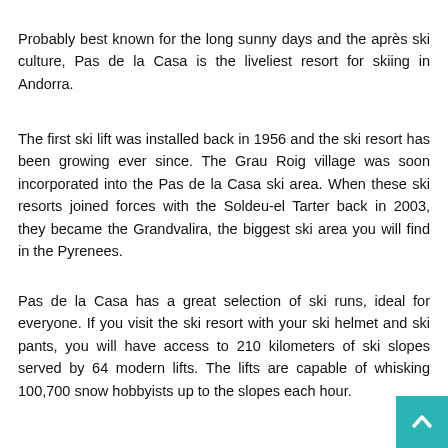Probably best known for the long sunny days and the après ski culture, Pas de la Casa is the liveliest resort for skiing in Andorra.
The first ski lift was installed back in 1956 and the ski resort has been growing ever since. The Grau Roig village was soon incorporated into the Pas de la Casa ski area. When these ski resorts joined forces with the Soldeu-el Tarter back in 2003, they became the Grandvalira, the biggest ski area you will find in the Pyrenees.
Pas de la Casa has a great selection of ski runs, ideal for everyone. If you visit the ski resort with your ski helmet and ski pants, you will have access to 210 kilometers of ski slopes served by 64 modern lifts. The lifts are capable of whisking 100,700 snow hobbyists up to the slopes each hour.